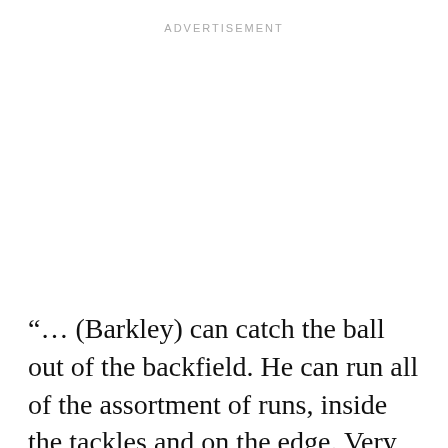ADVERTISEMENT
“… (Barkley) can catch the ball out of the backfield. He can run all of the assortment of runs, inside the tackles and on the edge. Very good pass protector. He is a multi-purpose back that can do everything well”